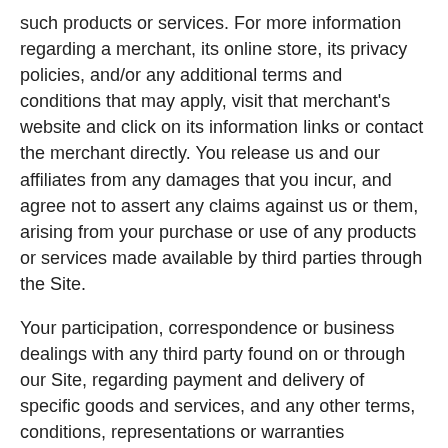such products or services. For more information regarding a merchant, its online store, its privacy policies, and/or any additional terms and conditions that may apply, visit that merchant's website and click on its information links or contact the merchant directly. You release us and our affiliates from any damages that you incur, and agree not to assert any claims against us or them, arising from your purchase or use of any products or services made available by third parties through the Site.
Your participation, correspondence or business dealings with any third party found on or through our Site, regarding payment and delivery of specific goods and services, and any other terms, conditions, representations or warranties associated with such dealings, are solely between you and such third party. You agree that Refractive Media shall not be responsible or liable for any loss, damage, or other matters of any sort incurred as the result of such dealings.
You agree to be financially responsible for all purchases made by you or someone acting on your behalf through the Site. You agree to use the Site and to purchase services or products through the Site for legitimate, non-commercial